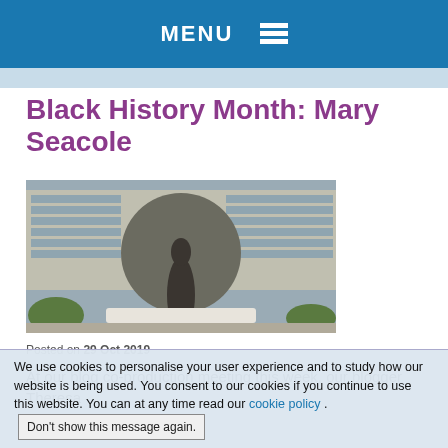MENU
Black History Month: Mary Seacole
[Figure (photo): Bronze statue of Mary Seacole in front of a large circular stone backdrop, set against a modernist building with many windows. The statue shows a standing woman in flowing robes.]
Posted on 29 Oct 2019
At our blog co-production meeting this week, our blogger Theresa
We use cookies to personalise your user experience and to study how our website is being used. You consent to our cookies if you continue to use this website. You can at any time read our cookie policy . Don't show this message again.